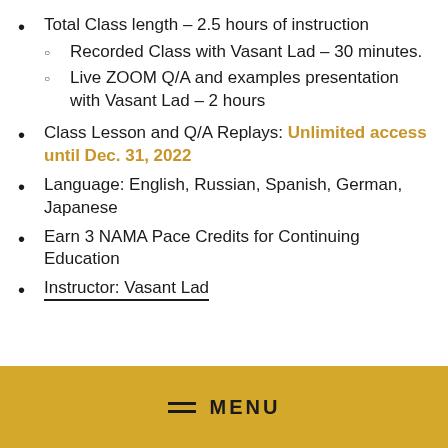Total Class length – 2.5 hours of instruction
Recorded Class with Vasant Lad – 30 minutes.
Live ZOOM Q/A and examples presentation with Vasant Lad – 2 hours
Class Lesson and Q/A Replays: Unlimited access until Dec. 31, 2022
Language: English, Russian, Spanish, German, Japanese
Earn 3 NAMA Pace Credits for Continuing Education
Instructor: Vasant Lad
MENU